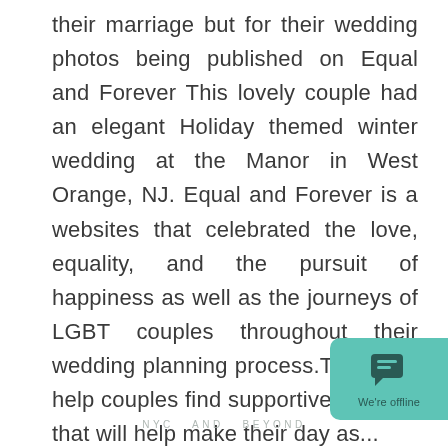their marriage but for their wedding photos being published on Equal and Forever This lovely couple had an elegant Holiday themed winter wedding at the Manor in West Orange, NJ. Equal and Forever is a websites that celebrated the love, equality, and the pursuit of happiness as well as the journeys of LGBT couples throughout their wedding planning process.They also help couples find supportive vendors that will help make their day as...
NYC AND BEYOND
[Figure (other): Teal/green chat widget button in bottom right corner with chat bubble icon and 'We're offline' label]